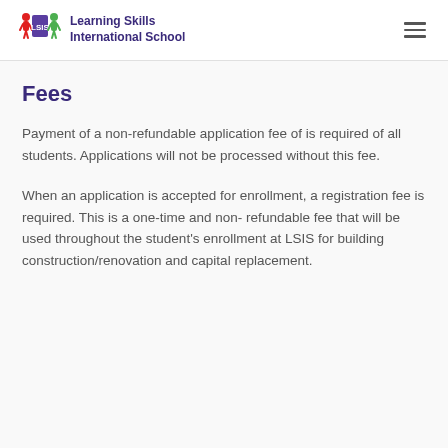Learning Skills International School
Fees
Payment of a non-refundable application fee of is required of all students. Applications will not be processed without this fee.
When an application is accepted for enrollment, a registration fee is required. This is a one-time and non- refundable fee that will be used throughout the student's enrollment at LSIS for building construction/renovation and capital replacement.